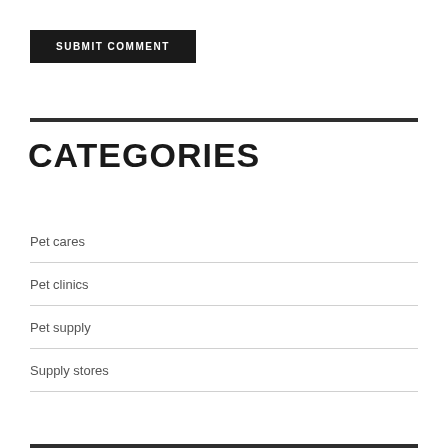SUBMIT COMMENT
CATEGORIES
Pet cares
Pet clinics
Pet supply
Supply stores